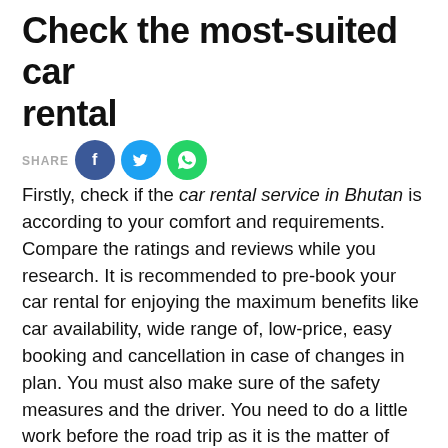Check the most-suited car rental
[Figure (infographic): Social share buttons: SHARE label, Facebook (blue circle with f icon), Twitter (light blue circle with bird icon), WhatsApp (green circle with phone icon)]
Firstly, check if the car rental service in Bhutan is according to your comfort and requirements. Compare the ratings and reviews while you research. It is recommended to pre-book your car rental for enjoying the maximum benefits like car availability, wide range of, low-price, easy booking and cancellation in case of changes in plan. You must also make sure of the safety measures and the driver. You need to do a little work before the road trip as it is the matter of comfort and safety of your family.
Carry the needful
If you are on a long road journeys with your family, you are spending a lot of time. Along the beautiful paths leading to exuberant destinations, you need sources of